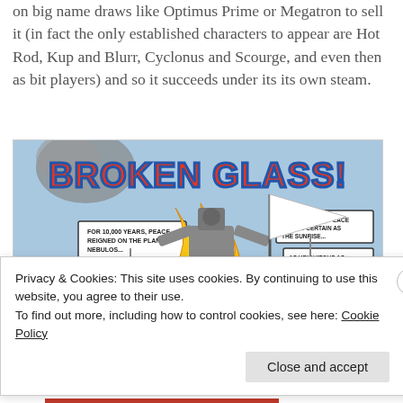on big name draws like Optimus Prime or Megatron to sell it (in fact the only established characters to appear are Hot Rod, Kup and Blurr, Cyclonus and Scourge, and even then as bit players) and so it succeeds under its its own steam.
[Figure (illustration): Comic book page image titled 'BROKEN GLASS!' showing a battle scene on the planet Nebulos with text boxes reading 'FOR 10,000 YEARS, PEACE REIGNED ON THE PLANET NEBULOS...' and 'TO ITS PEOPLE, PEACE WAS AS CERTAIN AS THE SUNRISE... AS UBIQUITOUS AS THE AIR... AND THEY'VE RECENTLY DISCOVERED AS BRITTLE AS GLASS...']
Privacy & Cookies: This site uses cookies. By continuing to use this website, you agree to their use.
To find out more, including how to control cookies, see here: Cookie Policy